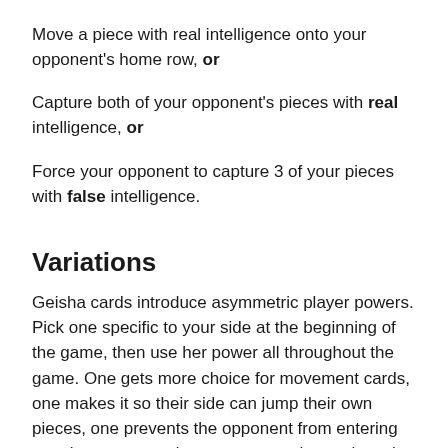Move a piece with real intelligence onto your opponent's home row, or
Capture both of your opponent's pieces with real intelligence, or
Force your opponent to capture 3 of your pieces with false intelligence.
Variations
Geisha cards introduce asymmetric player powers. Pick one specific to your side at the beginning of the game, then use her power all throughout the game. One gets more choice for movement cards, one makes it so their side can jump their own pieces, one prevents the opponent from entering certain spaces, and one can even change how the tactics